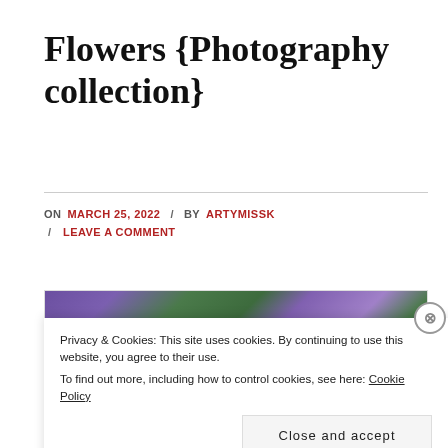Flowers {Photography collection}
ON MARCH 25, 2022 / BY ARTYMISSK / LEAVE A COMMENT
[Figure (photo): Close-up photograph of purple/blue flowers with green foliage, displayed in a gallery slider with left and right navigation arrows]
Privacy & Cookies: This site uses cookies. By continuing to use this website, you agree to their use.
To find out more, including how to control cookies, see here: Cookie Policy
Close and accept